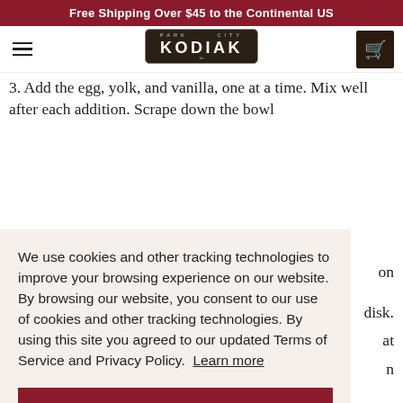Free Shipping Over $45 to the Continental US
[Figure (logo): Kodiak Park City logo — dark badge with KODIAK lettering]
3. Add the egg, yolk, and vanilla, one at a time. Mix well after each addition. Scrape down the bowl
We use cookies and other tracking technologies to improve your browsing experience on our website. By browsing our website, you consent to our use of cookies and other tracking technologies. By using this site you agreed to our updated Terms of Service and Privacy Policy.  Learn more
ACCEPT
cookies to spread.